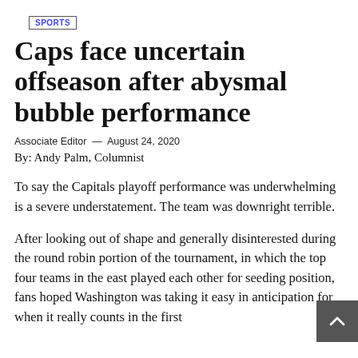SPORTS
Caps face uncertain offseason after abysmal bubble performance
Associate Editor — August 24, 2020
By: Andy Palm, Columnist
To say the Capitals playoff performance was underwhelming is a severe understatement. The team was downright terrible.
After looking out of shape and generally disinterested during the round robin portion of the tournament, in which the top four teams in the east played each other for seeding position, fans hoped Washington was taking it easy in anticipation for when it really counts in the first round of the elimination games. Those hopes were quickly